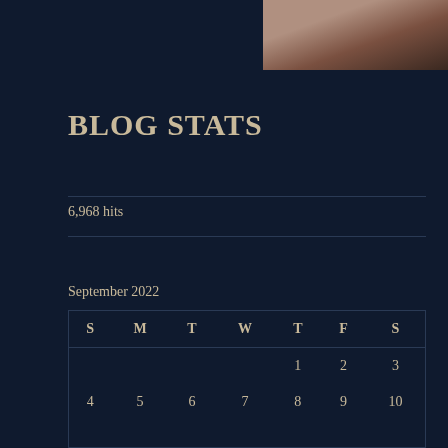[Figure (photo): Partial photo of a person visible in the top right corner of the page]
BLOG STATS
6,968 hits
September 2022
| S | M | T | W | T | F | S |
| --- | --- | --- | --- | --- | --- | --- |
|  |  |  |  | 1 | 2 | 3 |
| 4 | 5 | 6 | 7 | 8 | 9 | 10 |